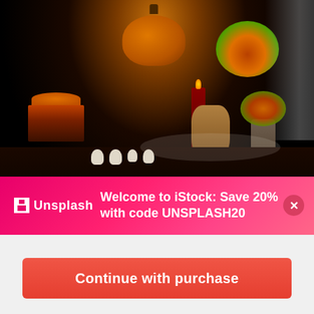[Figure (photo): Dark Halloween-themed food photography showing a layered orange cake with flowers, a carved jack-o-lantern pumpkin, candles, gourds, white ghost-shaped meringues, and autumn flower arrangements on a dark table]
🏛 Unsplash  Welcome to iStock: Save 20% with code UNSPLASH20
[Figure (photo): Thumbnail strip showing two partial images: left shows yellow/orange marigold flowers, right shows autumn floral arrangement]
$12 | 1 credit
Continue with purchase